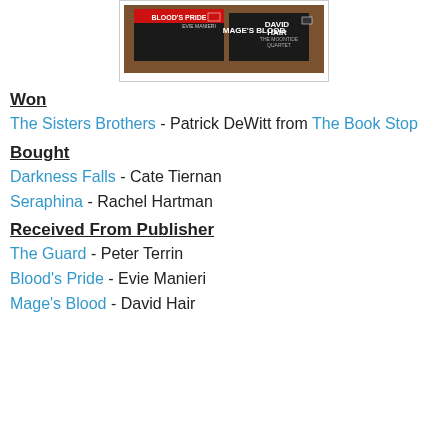[Figure (photo): Photo of book spines including Blood's Pride by Evie Manieri and Mage's Blood by David Hair (The Moontide Quartet Book 1)]
Won
The Sisters Brothers - Patrick DeWitt from The Book Stop
Bought
Darkness Falls - Cate Tiernan
Seraphina - Rachel Hartman
Received From Publisher
The Guard - Peter Terrin
Blood's Pride - Evie Manieri
Mage's Blood - David Hair